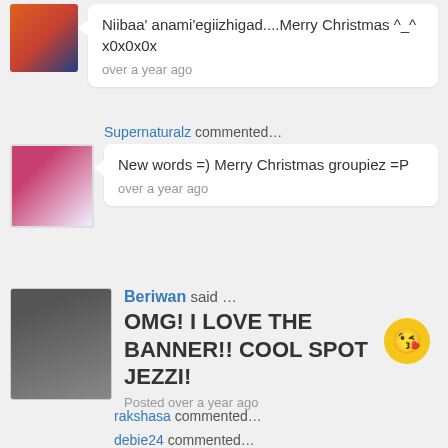Niibaa' anami'egiizhigad....Merry Christmas ^_^ x0x0x0x
over a year ago
Supernaturalz commented...
New words =) Merry Christmas groupiez =P
over a year ago
Beriwan said ...
OMG! I LOVE THE BANNER!! COOL SPOT JEZZI!
Posted over a year ago
rakshasa commented...
Isn't it great! My friend Char (twilighter4evr) made this spot and the awesome banner! She has several spots...they all have amazing banners too, but I love mine best ^_____^ x0x0x0x
over a year ago
debie24 commented...